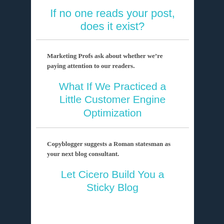If no one reads your post, does it exist?
Marketing Profs ask about whether we’re paying attention to our readers.
What If We Practiced a Little Customer Engine Optimization
Copyblogger suggests a Roman statesman as your next blog consultant.
Let Cicero Build You a Sticky Blog